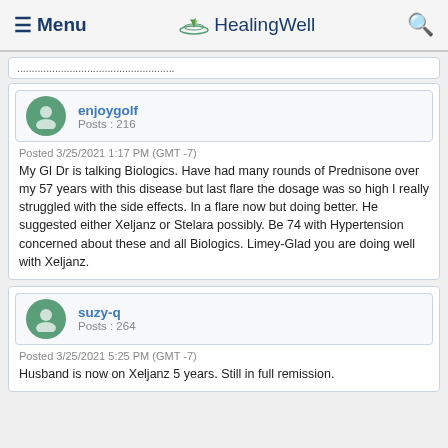☰ Menu   🌿 HealingWell   🔍
Posted 3/25/2021 1:17 PM (GMT -7)
My GI Dr is talking Biologics. Have had many rounds of Prednisone over my 57 years with this disease but last flare the dosage was so high I really struggled with the side effects. In a flare now but doing better. He suggested either Xeljanz or Stelara possibly. Be 74 with Hypertension concerned about these and all Biologics. Limey-Glad you are doing well with Xeljanz.
Posted 3/25/2021 5:25 PM (GMT -7)
Husband is now on Xeljanz 5 years. Still in full remission.